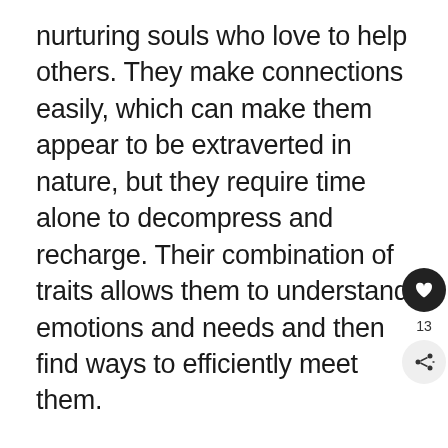nurturing souls who love to help others. They make connections easily, which can make them appear to be extraverted in nature, but they require time alone to decompress and recharge. Their combination of traits allows them to understand emotions and needs and then find ways to efficiently meet them.
The travel personality of the INFJ is to seek meaning and purpose in their explorations. They are likely to be found volunteering abroad, immersing